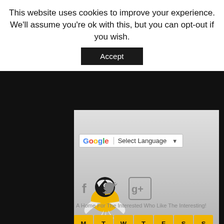This website uses cookies to improve your experience. We'll assume you're ok with this, but you can opt-out if you wish.
Accept
[Figure (other): Google Translate widget with 'Select Language' dropdown and arrow]
[Figure (logo): Website mascot logo: a stylized bird/raven with white and yellow coloring on black background]
[Figure (other): Social media icons: Facebook (f), Twitter (bird), Google+ (g+) in gray on dark background]
A Home For The Interested Who Like The Interesting!
August 2022
| M | T | W | T | F | S | S |
| --- | --- | --- | --- | --- | --- | --- |